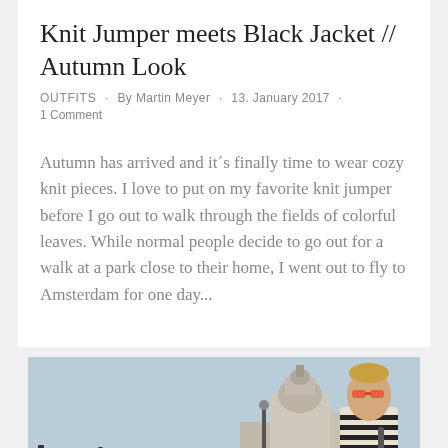Knit Jumper meets Black Jacket // Autumn Look
OUTFITS · By Martin Meyer · 13. January 2017 · 1 Comment
Autumn has arrived and it´s finally time to wear cozy knit pieces. I love to put on my favorite knit jumper before I go out to walk through the fields of colorful leaves. While normal people decide to go out for a walk at a park close to their home, I went out to fly to Amsterdam for one day...
[Figure (photo): Man with sunglasses wearing striped top standing in front of Venice gondolas and Santa Maria della Salute church in background]